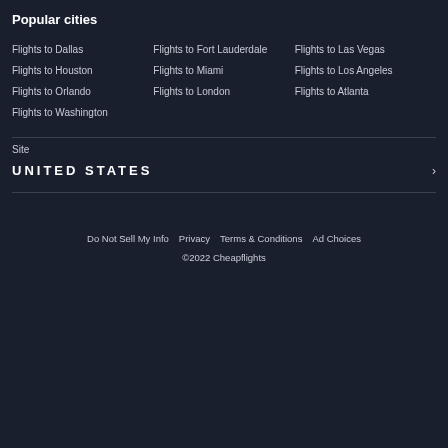Popular cities
Flights to Dallas
Flights to Fort Lauderdale
Flights to Las Vegas
Flights to Houston
Flights to Miami
Flights to Los Angeles
Flights to Orlando
Flights to London
Flights to Atlanta
Flights to Washington
Site
UNITED STATES
Do Not Sell My Info  Privacy  Terms & Conditions  Ad Choices
©2022 Cheapflights